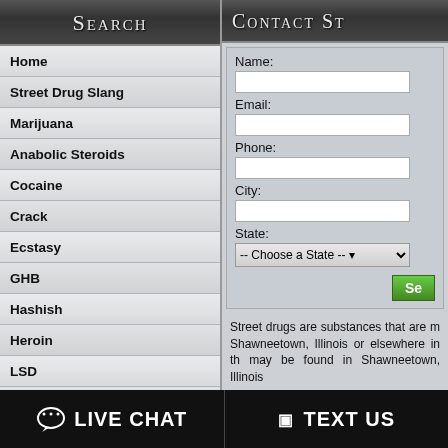Search
Home
Street Drug Slang
Marijuana
Anabolic Steroids
Cocaine
Crack
Ecstasy
GHB
Hashish
Heroin
LSD
Magic Mushrooms
Methamphetamine
Opium
PCP
Contact St
Name: / Email: / Phone: / City: / State: -- Choose a State --
Street drugs are substances that are made Shawneetown, Illinois or elsewhere in th may be found in Shawneetown, Illinois
LIVE CHAT
TEXT US